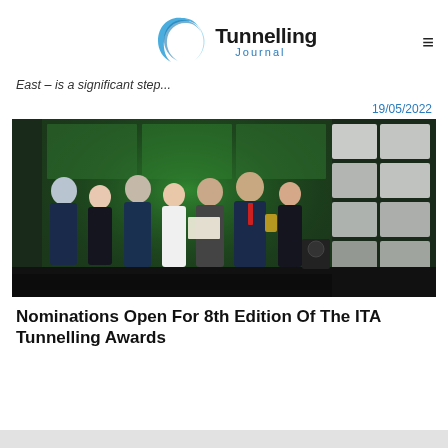Tunnelling Journal
East – is a significant step...
19/05/2022
[Figure (photo): Group of seven people standing on a stage at an awards ceremony. They are holding a certificate and a trophy. Green lit backdrop with geometric lighting panels on the right side.]
Nominations Open For 8th Edition Of The ITA Tunnelling Awards